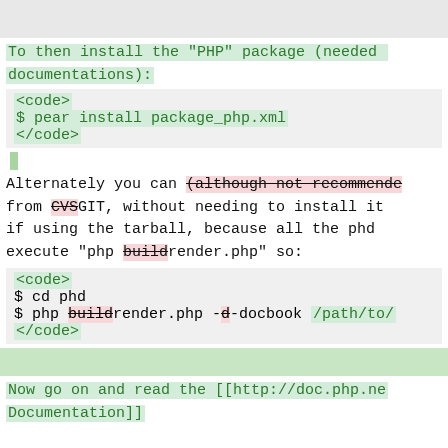To then install the "PHP" package (needed for documentations):
<code>
$ pear install package_php.xml
</code>
Alternately you can (although not recommended) from CVSGIT, without needing to install it if using the tarball, because all the phd execute "php buildrender.php" so:
<code>
$ cd phd
$ php buildrender.php -d-docbook /path/to/
</code>
Now go on and read the [[http://doc.php.net Documentation]]